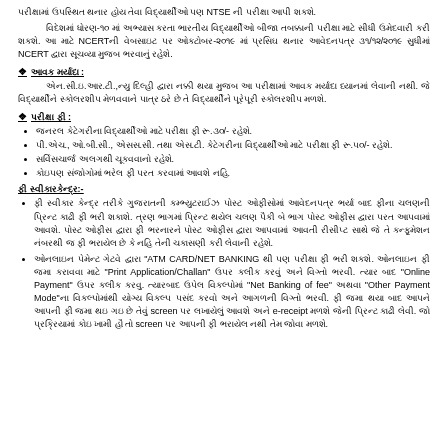પરીક્ષામાં ઉપસ્થિત થનાર હોય તેવા વિદ્યાર્થીઓ પણ NTSE ની પરીક્ષા આપી શકશે.
વિદેશમાં ધોરણ-૧૦ માં અભ્યાસ કરતા ભારતીય વિદ્યાર્થીઓ બીજા તબક્કાની પરીક્ષા માટે સીધી ઉમેદવારી કરી શકશે. આ માટે NCERTની વેબસાઇટ પર ઓક્ટોબર-૨૦૧૯ માં પ્રસિઘ થનાર આવેદનપત્ર ૩૧/૧૨/૨૦૧૯ સુધીમાં NCERT દ્વારા સૂચવ્યા મુજબ ભરવાનું રહેશે.
આવક મર્યાદા :
એન.સી.ઇ.આર.ટી.,ન્યુ દિલ્હી દ્વારા નક્કી થયા મુજબ આ પરીક્ષામાં આવક મર્યાદા ધ્યાનમાં લેવાની નથી. જે વિદ્યાર્થીને સ્કોલરશીપ મેળવવાને પાત્ર ઠરે છે તે વિદ્યાર્થીને પૂરેપૂરી સ્કોલરશીપ મળશે.
પરીક્ષા ફી :
જનરલ કેટેગરીના વિદ્યાર્થીઓ માટે પરીક્ષા ફી રૂ.૩૦/- રહેશે.
પી.એચ., ઓ.બી.સી., એસસ.સી. તથા એસ.ટી. કેટેગરીના વિદ્યાર્થીઓ માટે પરીક્ષા ફી રૂ.૫૦/- રહેશે.
સર્વિસચાર્જ અલગથી ચૂકવવાનો રહેશે.
કોઇપણ સંજોગોમાં ભરેલ ફી પરત કરવામાં આવશે નહિ.
ફી સ્વીકારકેન્દ્ર:-
ફી સ્વીકાર કેન્દ્ર તરીકે ગુજરાતની કમ્ભ્યુટરાઈઝ પોસ્ટ ઓફીસોમાં આવેદનપત્ર ભર્યા બાદ ફીના ચલણની પ્રિન્ટ કાઢી ફી ભરી શકાશે. ત્રણ ભાગમાં પ્રિન્ટ થયેલ ચલણ પૈકી બે ભાગ પોસ્ટ ઓફીસ દ્વારા પરત આપવામાં આવશે. પોસ્ટ ઓફીસ દ્વારા ફી ભરનારને પોસ્ટ ઓફીસ દ્વારા આપવામાં આવતી રીસીપ્ટ સાથે જે તે કન્ફ્ર્મેશન નંબરથી જ ફી ભરાયેલ છે કે નહિ તેની ચકાસણી કરી લેવાની રહેશે.
ઓનલાઇન પેમેન્ટ ગેટવે દ્વારા "ATM CARD/NET BANKING થી પણ પરીક્ષા ફી ભરી શકશે. ઓનલાઇન ફી જમા કરાવવા માટે "Print Application/Challan" ઉપર ક્લીક કરવું અને વિગ્તો ભરવી. ત્યાર બાદ "Online Payment" ઉપર ક્લીક કરવુ. ત્યારબાદ ઉપેલ વિકલ્પોમાં "Net Banking of fee" અથવા "Other Payment Mode"ના વિકલ્પોમાંથી યોગ્ય વિકલ્પ પસંદ કરવો અને આગળની વિગ્તો ભરવી. ફી જમા થયા બાદ આપને આપની ફી જમા થઇ ગઇ છે તેવું screen પર લખાયેલું આવશે અને e-receipt મળશે જેની પ્રિન્ટ કાઢી લેવી. જો પ્રક્રિયામાં કોઇ ખામી હૌ તો screen પર આપની ફી ભરાયેલ નથી તેમ જોવા મળશે.